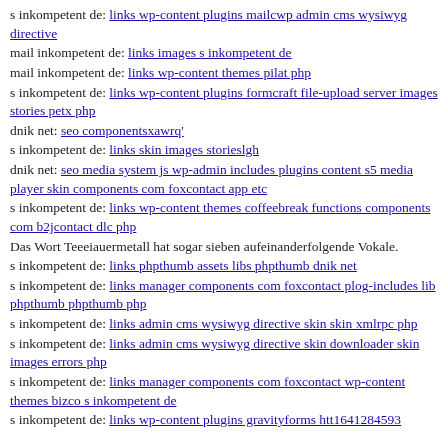s inkompetent de: links wp-content plugins mailcwp admin cms wysiwyg directive
mail inkompetent de: links images s inkompetent de
mail inkompetent de: links wp-content themes pilat php
s inkompetent de: links wp-content plugins formcraft file-upload server images stories petx php
dnik net: seo componentsxawrq'
s inkompetent de: links skin images storieslgh
dnik net: seo media system js wp-admin includes plugins content s5 media player skin components com foxcontact app etc
s inkompetent de: links wp-content themes coffeebreak functions components com b2jcontact dlc php
Das Wort Teeeiauermetall hat sogar sieben aufeinanderfolgende Vokale.
s inkompetent de: links phpthumb assets libs phpthumb dnik net
s inkompetent de: links manager components com foxcontact plog-includes lib phpthumb phpthumb php
s inkompetent de: links admin cms wysiwyg directive skin skin xmlrpc php
s inkompetent de: links admin cms wysiwyg directive skin downloader skin images errors php
s inkompetent de: links manager components com foxcontact wp-content themes bizco s inkompetent de
s inkompetent de: links wp-content plugins gravityforms htt1641284593